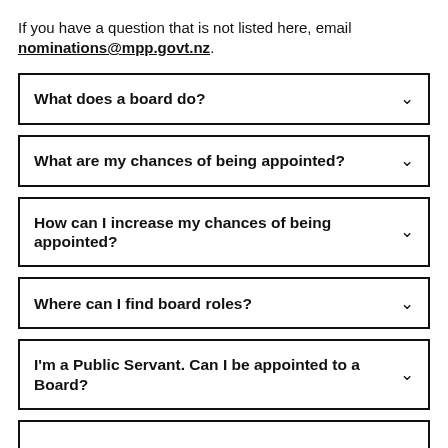If you have a question that is not listed here, email nominations@mpp.govt.nz.
What does a board do?
What are my chances of being appointed?
How can I increase my chances of being appointed?
Where can I find board roles?
I'm a Public Servant. Can I be appointed to a Board?